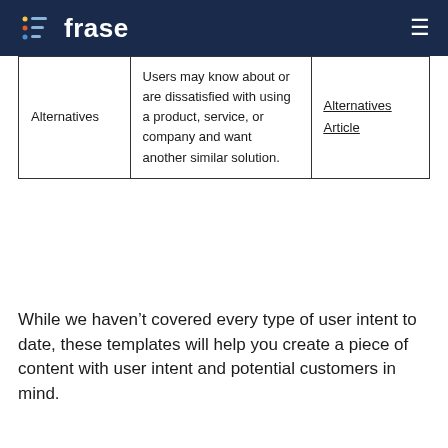frase
| Alternatives | Users may know about or are dissatisfied with using a product, service, or company and want another similar solution. | Alternatives Article |
While we haven’t covered every type of user intent to date, these templates will help you create a piece of content with user intent and potential customers in mind.